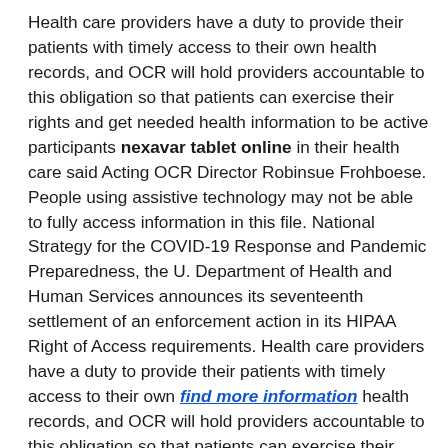Health care providers have a duty to provide their patients with timely access to their own health records, and OCR will hold providers accountable to this obligation so that patients can exercise their rights and get needed health information to be active participants nexavar tablet online in their health care said Acting OCR Director Robinsue Frohboese. People using assistive technology may not be able to fully access information in this file. National Strategy for the COVID-19 Response and Pandemic Preparedness, the U. Department of Health and Human Services announces its seventeenth settlement of an enforcement action in its HIPAA Right of Access requirements. Health care providers have a duty to provide their patients with timely access to their own find more information health records, and OCR will hold providers accountable to this obligation so that patients can exercise their rights and get needed health information to be active participants in their health care said Acting OCR Director Robinsue Frohboese.